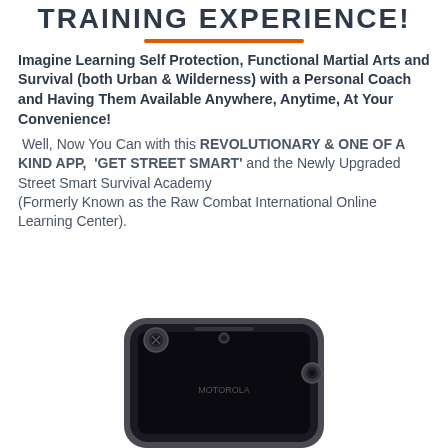TRAINING EXPERIENCE!
Imagine Learning Self Protection, Functional Martial Arts and Survival (both Urban & Wilderness) with a Personal Coach and Having Them Available Anywhere, Anytime, At Your Convenience!
Well, Now You Can with this REVOLUTIONARY & ONE OF A KIND APP, 'GET STREET SMART' and the Newly Upgraded Street Smart Survival Academy (Formerly Known as the Raw Combat International Online Learning Center).
[Figure (photo): A smartphone (appears to be a Motorola) shown from above, displaying a dark screen, with camera and speaker visible at the top of the device.]